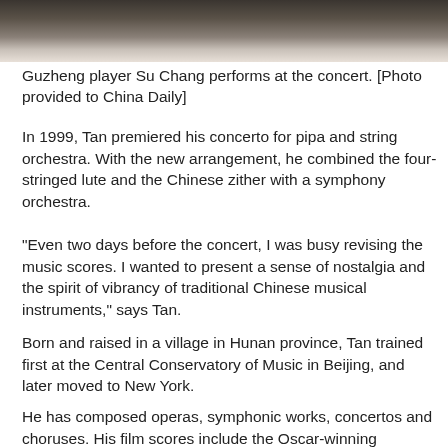[Figure (photo): Partial photo showing a performer, cropped at top of page]
Guzheng player Su Chang performs at the concert. [Photo provided to China Daily]
In 1999, Tan premiered his concerto for pipa and string orchestra. With the new arrangement, he combined the four-stringed lute and the Chinese zither with a symphony orchestra.
"Even two days before the concert, I was busy revising the music scores. I wanted to present a sense of nostalgia and the spirit of vibrancy of traditional Chinese musical instruments," says Tan.
Born and raised in a village in Hunan province, Tan trained first at the Central Conservatory of Music in Beijing, and later moved to New York.
He has composed operas, symphonic works, concertos and choruses. His film scores include the Oscar-winning soundtrack for director Ang Lee's martial arts movie Crouching Tiger, Hidden Dragon (2000) and Zhang Yimou's